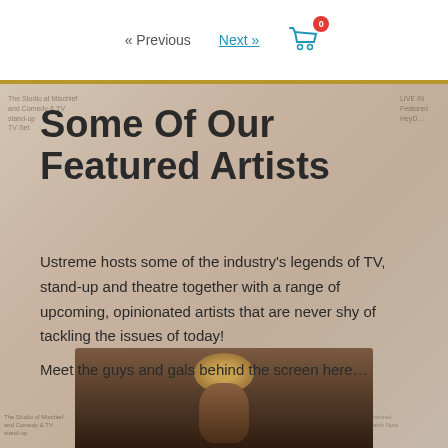« Previous   Next »   [cart icon 0]
Some Of Our Featured Artists
Ustreme hosts some of the industry's legends of TV, stand-up and theatre together with a range of upcoming, opinionated artists that are never shy of tackling the issues of today!
Meet the guys and gals behind the screen here…
[Figure (photo): Background collage of show thumbnails and artist images, with a photo of a person with light hair at the bottom center of the page.]